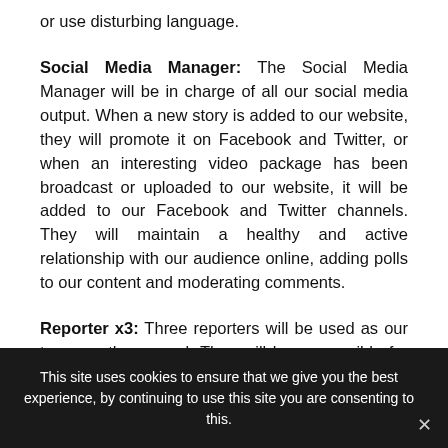or use disturbing language.
Social Media Manager: The Social Media Manager will be in charge of all our social media output. When a new story is added to our website, they will promote it on Facebook and Twitter, or when an interesting video package has been broadcast or uploaded to our website, it will be added to our Facebook and Twitter channels. They will maintain a healthy and active relationship with our audience online, adding polls to our content and moderating comments.
Reporter x3: Three reporters will be used as our team on the ground. They will be responsible for gathering
This site uses cookies to ensure that we give you the best experience, by continuing to use this site you are consenting to this.